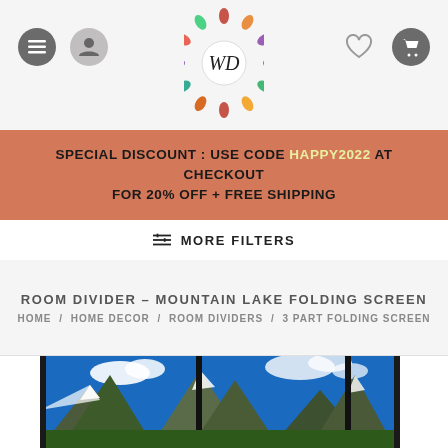[Figure (screenshot): E-commerce website header with menu icon, user icon, decorative WD logo, heart/cart icons on light gray background]
SPECIAL DISCOUNT : USE CODE HAPPY2022 AT CHECKOUT FOR 20% OFF + FREE SHIPPING
≡ MORE FILTERS
ROOM DIVIDER – MOUNTAIN LAKE FOLDING SCREEN
HOME / HOME DECOR / ROOM DIVIDERS / 3 PART FOLDING SCREEN
[Figure (photo): Room divider folding screen showing mountain lake scene with blue sky, snow-capped peaks and rocky terrain across 3 panels with black dividers]